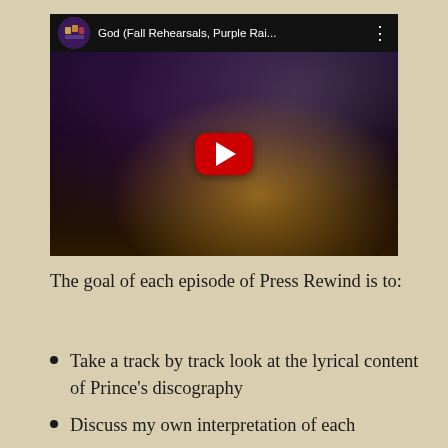[Figure (screenshot): YouTube video thumbnail showing Prince performing at a keyboard/piano in low light. The video title bar shows 'God (Fall Rehearsals, Purple Rai...' with a YouTube channel thumbnail on the left and three-dot menu on the right. A red YouTube play button is centered over the dark concert photo.]
The goal of each episode of Press Rewind is to:
Take a track by track look at the lyrical content of Prince's discography
Discuss my own interpretation of each